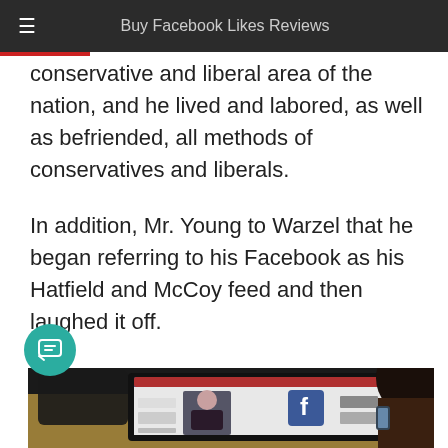Buy Facebook Likes Reviews
conservative and liberal area of the nation, and he lived and labored, as well as befriended, all methods of conservatives and liberals.
In addition, Mr. Young to Warzel that he began referring to his Facebook as his Hatfield and McCoy feed and then laughed it off.
[Figure (photo): Person sitting at a desk viewing a laptop showing a Facebook page with a woman's profile photo and the Facebook logo, holding a phone in the other hand.]